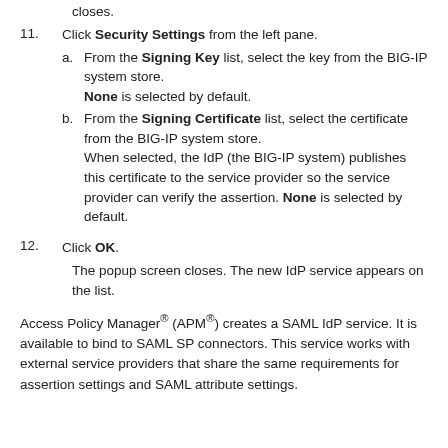closes.
11. Click Security Settings from the left pane.
a. From the Signing Key list, select the key from the BIG-IP system store. None is selected by default.
b. From the Signing Certificate list, select the certificate from the BIG-IP system store. When selected, the IdP (the BIG-IP system) publishes this certificate to the service provider so the service provider can verify the assertion. None is selected by default.
12. Click OK. The popup screen closes. The new IdP service appears on the list.
Access Policy Manager® (APM®) creates a SAML IdP service. It is available to bind to SAML SP connectors. This service works with external service providers that share the same requirements for assertion settings and SAML attribute settings.